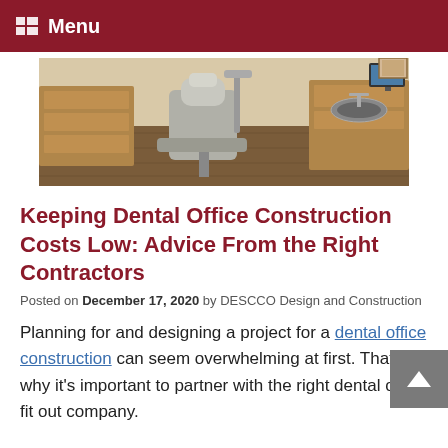Menu
[Figure (photo): Interior of a dental office showing a dental chair, wooden cabinetry, hardwood floor, dental equipment, monitor, and a sink area.]
Keeping Dental Office Construction Costs Low: Advice From the Right Contractors
Posted on December 17, 2020 by DESCCO Design and Construction
Planning for and designing a project for a dental office construction can seem overwhelming at first. That's why it's important to partner with the right dental office fit out company.